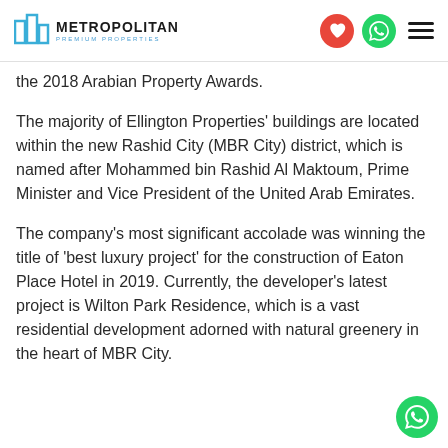Metropolitan Premium Properties
the 2018 Arabian Property Awards.
The majority of Ellington Properties' buildings are located within the new Rashid City (MBR City) district, which is named after Mohammed bin Rashid Al Maktoum, Prime Minister and Vice President of the United Arab Emirates.
The company's most significant accolade was winning the title of 'best luxury project' for the construction of Eaton Place Hotel in 2019. Currently, the developer's latest project is Wilton Park Residence, which is a vast residential development adorned with natural greenery in the heart of MBR City.